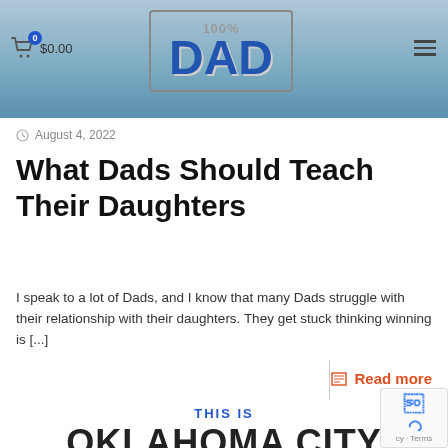[Figure (screenshot): Website header with blue banner background, 100% DAD logo in bordered box, shopping cart icon with 0 badge and $0.00 price, hamburger menu icon]
August 4, 2022
What Dads Should Teach Their Daughters
I speak to a lot of Dads, and I know that many Dads struggle with their relationship with their daughters. They get stuck thinking winning is [...]
Read more
THIS IS
OKLAHOMA CITY